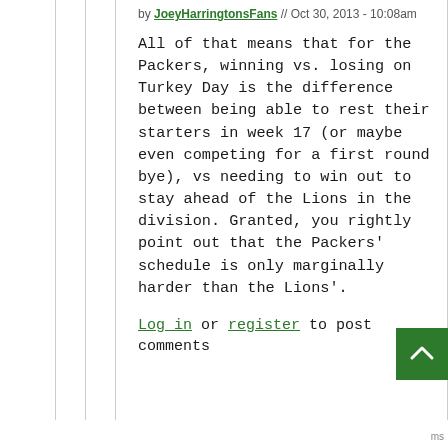by JoeyHarringtonsFans // Oct 30, 2013 - 10:08am
All of that means that for the Packers, winning vs. losing on Turkey Day is the difference between being able to rest their starters in week 17 (or maybe even competing for a first round bye), vs needing to win out to stay ahead of the Lions in the division. Granted, you rightly point out that the Packers' schedule is only marginally harder than the Lions'.
Log in or register to post comments